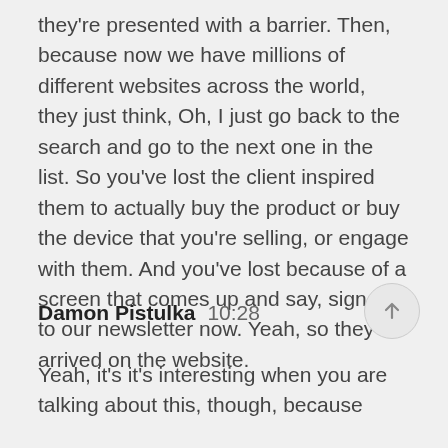they're presented with a barrier. Then, because now we have millions of different websites across the world, they just think, Oh, I just go back to the search and go to the next one in the list. So you've lost the client inspired them to actually buy the product or buy the device that you're selling, or engage with them. And you've lost because of a screen that comes up and say, sign up to our newsletter now. Yeah, so they've arrived on the website.
Damon Pistulka  10:28
Yeah, it's it's interesting when you are talking about this, though, because